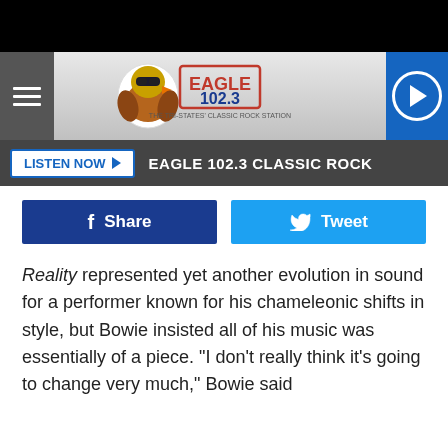[Figure (logo): Eagle 102.3 The Tri-States' Classic Rock Station logo with eagle mascot wearing sunglasses]
LISTEN NOW ▶  EAGLE 102.3 CLASSIC ROCK
Share
Tweet
Reality represented yet another evolution in sound for a performer known for his chameleonic shifts in style, but Bowie insisted all of his music was essentially of a piece. "I don't really think it's going to change very much," Bowie said